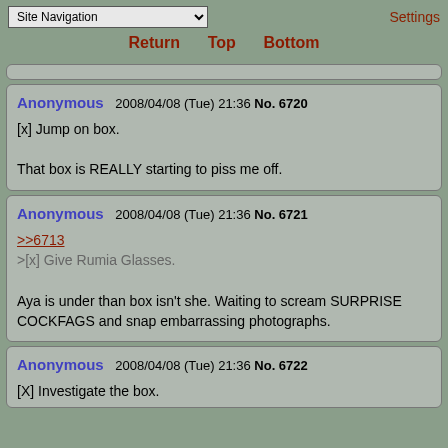Site Navigation | Settings | Return | Top | Bottom
Anonymous 2008/04/08 (Tue) 21:36 No. 6720
[x] Jump on box.

That box is REALLY starting to piss me off.
Anonymous 2008/04/08 (Tue) 21:36 No. 6721
>>6713
>[x] Give Rumia Glasses.

Aya is under than box isn't she. Waiting to scream SURPRISE COCKFAGS and snap embarrassing photographs.
Anonymous 2008/04/08 (Tue) 21:36 No. 6722
[X] Investigate the box.